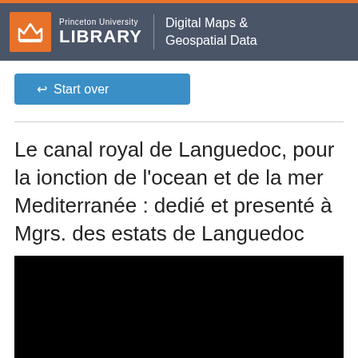Princeton University LIBRARY | Digital Maps & Geospatial Data
↩ Start over
Le canal royal de Languedoc, pour la ionction de l'ocean et de la mer Mediterranée : dedié et presenté à Mgrs. des estats de Languedoc
[Figure (photo): Black rectangular image area, appears to be a blank or loading map image]